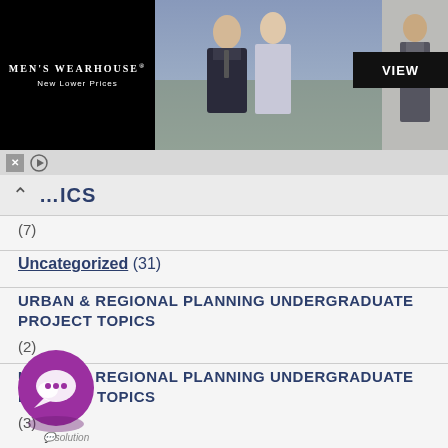[Figure (screenshot): Men's Wearhouse advertisement banner with logo on black background, couple in formalwear photo, single man in suit photo, and VIEW button]
…ICS
(7)
Uncategorized (31)
URBAN & REGIONAL PLANNING UNDERGRADUATE PROJECT TOPICS
(2)
URBAN & REGIONAL PLANNING UNDERGRADUATE PROJECT TOPICS
(3)
[Figure (illustration): Purple circular chat/comment bubble icon with white speech bubble symbol inside, and a chat label below]